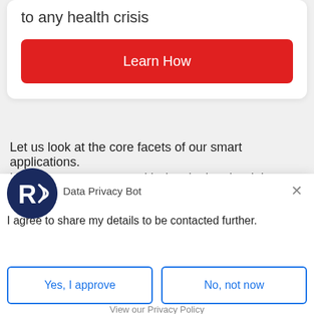to any health crisis
Learn How
Let us look at the core facets of our smart applications. How they can support with developing the right
[Figure (logo): Round logo with letter R and signal/wifi-style waves, dark navy blue background]
Data Privacy Bot
×
I agree to share my details to be contacted further.
Yes, I approve
No, not now
View our Privacy Policy